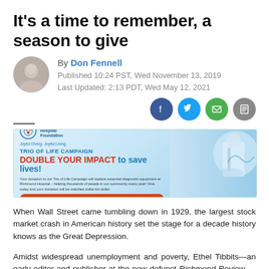It's a time to remember, a season to give
By Don Fennell
Published 10:24 PST, Wed November 13, 2019
Last Updated: 2:13 PDT, Wed May 12, 2021
[Figure (infographic): Richmond Hospital Foundation Trio of Life Campaign advertisement. DOUBLE YOUR IMPACT to save lives! Give Today button. Doctor image on right.]
When Wall Street came tumbling down in 1929, the largest stock market crash in American history set the stage for a decade history knows as the Great Depression.
Amidst widespread unemployment and poverty, Ethel Tibbits—an early editor and publisher at the now-defunct Richmond Review —started the Richmond Christmas Fund.